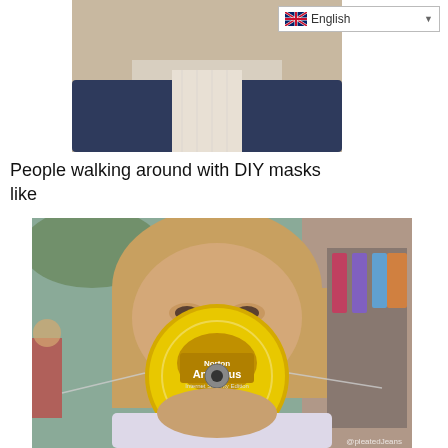[Figure (photo): Top portion of a person wearing a dark navy suit and light checkered shirt, partial view from shoulders down, no face visible]
[Figure (screenshot): Language selector UI element showing UK flag and 'English' text with dropdown arrow]
People walking around with DIY masks like
[Figure (photo): Woman with short blonde hair wearing a Norton AntiVirus CD as a face mask held by elastic string, standing in an outdoor market. Watermark: @pleatedJeans]